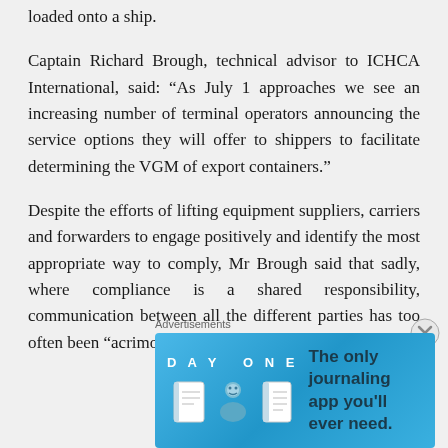loaded onto a ship.
Captain Richard Brough, technical advisor to ICHCA International, said: “As July 1 approaches we see an increasing number of terminal operators announcing the service options they will offer to shippers to facilitate determining the VGM of export containers.”
Despite the efforts of lifting equipment suppliers, carriers and forwarders to engage positively and identify the most appropriate way to comply, Mr Brough said that sadly, where compliance is a shared responsibility, communication between all the different parties has too often been “acrimonious rather than collaborative”
[Figure (other): Advertisement banner for Day One journaling app with blue gradient background, app icons, and text 'The only journaling app you'll ever need.']